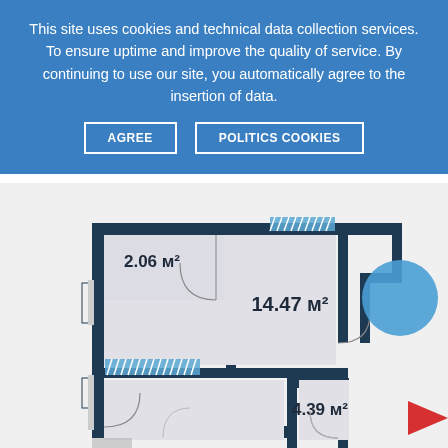This site uses cookies and technical data collection services. To ensure uptime and improve the quality of service. By continuing to use our site, you automatically agree to the insertion of data.
[Figure (schematic): Floor plan showing rooms with areas labeled: 2.06 m², 14.47 m², 4.39 m². Blue circle compass indicator top right. Red arrow bottom right. Blue hatched areas indicate windows/balcony openings.]